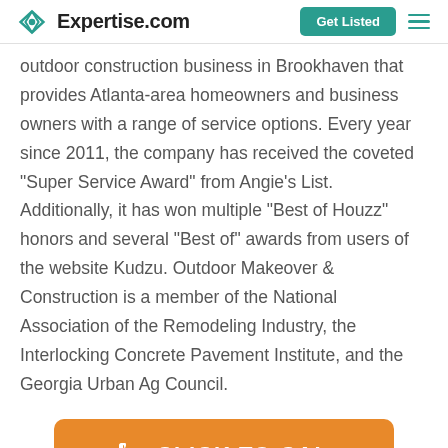Expertise.com | Get Listed
outdoor construction business in Brookhaven that provides Atlanta-area homeowners and business owners with a range of service options. Every year since 2011, the company has received the coveted "Super Service Award" from Angie's List. Additionally, it has won multiple "Best of Houzz" honors and several "Best of" awards from users of the website Kudzu. Outdoor Makeover & Construction is a member of the National Association of the Remodeling Industry, the Interlocking Concrete Pavement Institute, and the Georgia Urban Ag Council.
[Figure (other): Orange 'CLICK TO CALL' button with phone icon, and a dark teal 'For Providers' chat pill button in the bottom right]